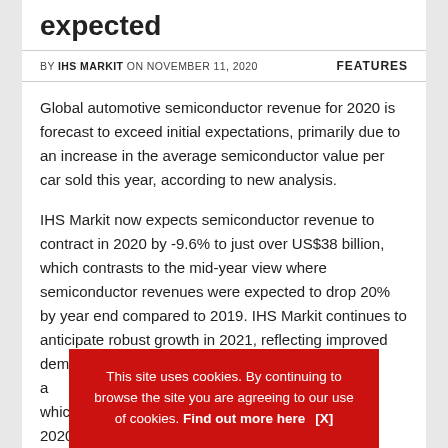expected
BY IHS MARKIT ON NOVEMBER 11, 2020   FEATURES
Global automotive semiconductor revenue for 2020 is forecast to exceed initial expectations, primarily due to an increase in the average semiconductor value per car sold this year, according to new analysis.
IHS Markit now expects semiconductor revenue to contract in 2020 by -9.6% to just over US$38 billion, which contrasts to the mid-year view where semiconductor revenues were expected to drop 20% by year end compared to 2019. IHS Markit continues to anticipate robust growth in 2021, reflecting improved demand and production conditions and especially a... which has h... 2020.
This site uses cookies. By continuing to browse the site you are agreeing to our use of cookies. Find out more here   [X]